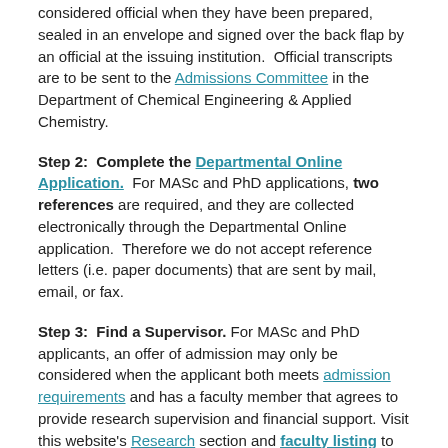considered official when they have been prepared, sealed in an envelope and signed over the back flap by an official at the issuing institution.  Official transcripts are to be sent to the Admissions Committee in the Department of Chemical Engineering & Applied Chemistry.
Step 2:  Complete the Departmental Online Application.  For MASc and PhD applications, two references are required, and they are collected electronically through the Departmental Online application.  Therefore we do not accept reference letters (i.e. paper documents) that are sent by mail, email, or fax.
Step 3:  Find a Supervisor. For MASc and PhD applicants, an offer of admission may only be considered when the applicant both meets admission requirements and has a faculty member that agrees to provide research supervision and financial support. Visit this website's Research section and faculty listing to explore our professors' research interests.  Applicants are encouraged to approach potential supervisors early in the application process, and may approach more than one faculty member at a time.